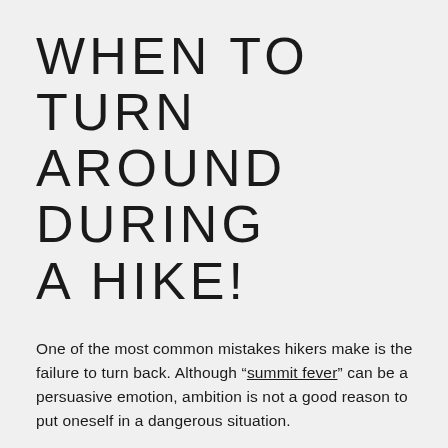WHEN TO TURN AROUND DURING A HIKE!
One of the most common mistakes hikers make is the failure to turn back. Although “summit fever” can be a persuasive emotion, ambition is not a good reason to put oneself in a dangerous situation.
REASONS YOU SHOULD TURN BACK INCLUDE: